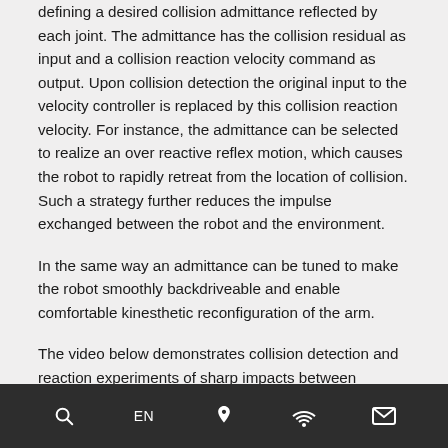defining a desired collision admittance reflected by each joint. The admittance has the collision residual as input and a collision reaction velocity command as output. Upon collision detection the original input to the velocity controller is replaced by this collision reaction velocity. For instance, the admittance can be selected to realize an over reactive reflex motion, which causes the robot to rapidly retreat from the location of collision. Such a strategy further reduces the impulse exchanged between the robot and the environment.
In the same way an admittance can be tuned to make the robot smoothly backdriveable and enable comfortable kinesthetic reconfiguration of the arm.
The video below demonstrates collision detection and reaction experiments of sharp impacts between TUDOR
🔍 EN 📍 📡 ✉